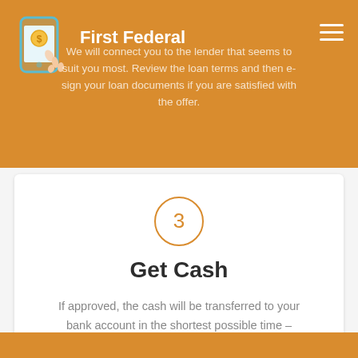First Federal
We will connect you to the lender that seems to suit you most. Review the loan terms and then e-sign your loan documents if you are satisfied with the offer.
[Figure (illustration): Mobile phone with dollar coin icon and hand pointing]
3
Get Cash
If approved, the cash will be transferred to your bank account in the shortest possible time – usually within 24 hours.